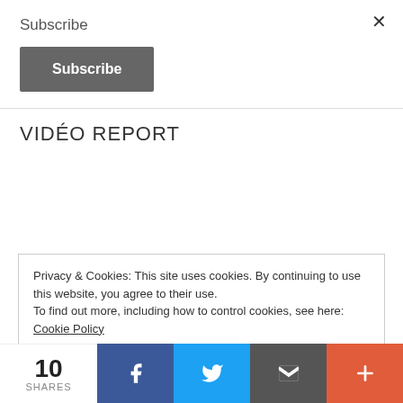Subscribe
Subscribe
VIDÉO REPORT
Privacy & Cookies: This site uses cookies. By continuing to use this website, you agree to their use.
To find out more, including how to control cookies, see here: Cookie Policy
10 SHARES | Facebook | Twitter | Email | More